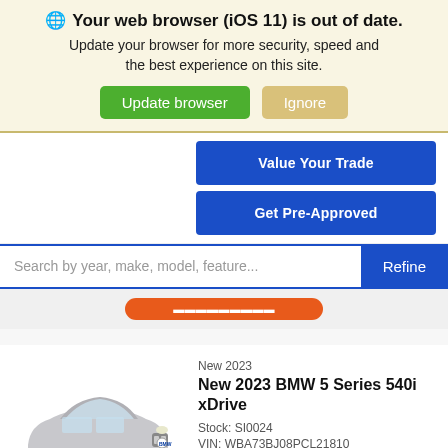🌐 Your web browser (iOS 11) is out of date. Update your browser for more security, speed and the best experience on this site.
Update browser  Ignore
Value Your Trade
Get Pre-Approved
Search by year, make, model, feature...  Refine
[Figure (screenshot): Orange button partially visible]
[Figure (photo): Silver BMW 5 Series sedan, side front view]
New 2023
New 2023 BMW 5 Series 540i xDrive
Stock: SI0024
VIN: WBA73BJ08PCL21810
Exterior: Gray
Interior: Black Perforated